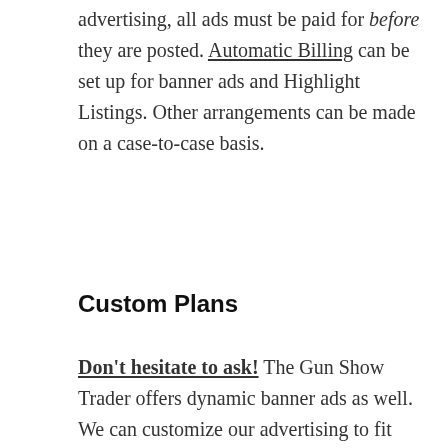advertising, all ads must be paid for before they are posted. Automatic Billing can be set up for banner ads and Highlight Listings. Other arrangements can be made on a case-to-case basis.
Custom Plans
Don't hesitate to ask! The Gun Show Trader offers dynamic banner ads as well. We can customize our advertising to fit most advertisers' needs. We can even make ads that change weekly depending on your upcoming shows!